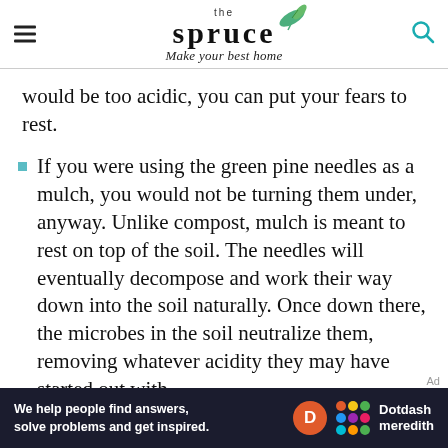the spruce — Make your best home
would be too acidic, you can put your fears to rest.
If you were using the green pine needles as a mulch, you would not be turning them under, anyway. Unlike compost, mulch is meant to rest on top of the soil. The needles will eventually decompose and work their way down into the soil naturally. Once down there, the microbes in the soil neutralize them, removing whatever acidity they may have started out with.
[Figure (other): Dotdash Meredith advertisement banner with text: We help people find answers, solve problems and get inspired. Features the Dotdash Meredith logo with colorful dots icon and orange D circle.]